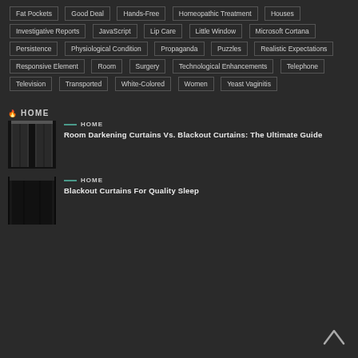Fat Pockets
Good Deal
Hands-Free
Homeopathic Treatment
Houses
Investigative Reports
JavaScript
Lip Care
Little Window
Microsoft Cortana
Persistence
Physiological Condition
Propaganda
Puzzles
Realistic Expectations
Responsive Element
Room
Surgery
Technological Enhancements
Telephone
Television
Transported
White-Colored
Women
Yeast Vaginitis
HOME
[Figure (photo): Dark curtains on a window]
HOME
Room Darkening Curtains Vs. Blackout Curtains: The Ultimate Guide
[Figure (photo): Dark blackout curtains]
HOME
Blackout Curtains For Quality Sleep